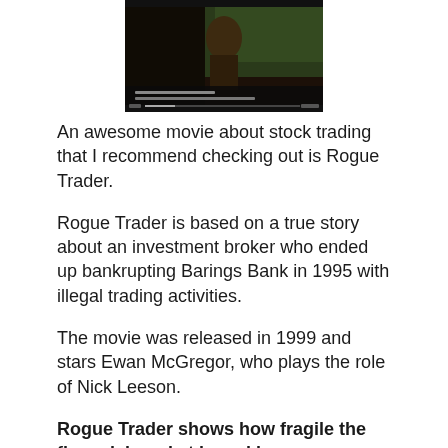[Figure (screenshot): Movie poster or screenshot from the film Rogue Trader, showing a dark scene with a figure]
An awesome movie about stock trading that I recommend checking out is Rogue Trader.
Rogue Trader is based on a true story about an investment broker who ended up bankrupting Barings Bank in 1995 with illegal trading activities.
The movie was released in 1999 and stars Ewan McGregor, who plays the role of Nick Leeson.
Rogue Trader shows how fragile the financial market is and how companies can be ruined due to trading activities!